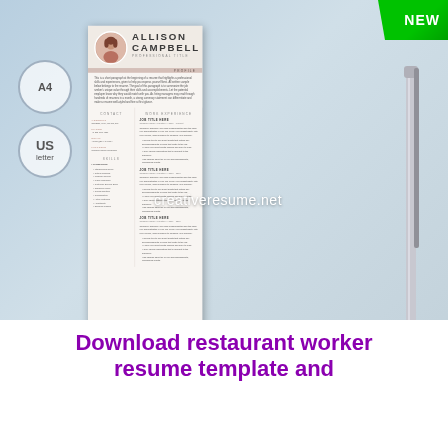[Figure (illustration): Resume template preview showing Allison Campbell professional resume with photo, contact, skills, and work experience sections. Displayed on a wooden desk background with pen and binder clip. Shows A4 and US letter format badges.]
NEW
A4
US letter
ALLISON CAMPBELL
PROFESSIONAL TITLE
creativeresume.net
Download restaurant worker resume template and